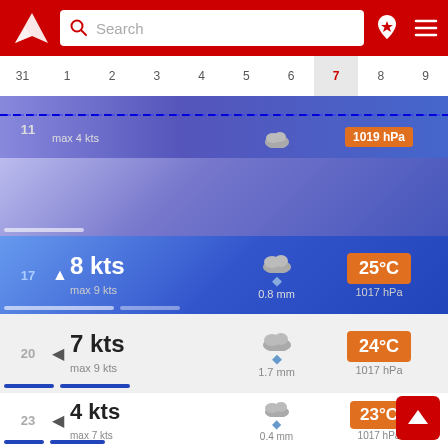[Figure (screenshot): Weather app header with red background, logo, search bar, and navigation icons]
[Figure (infographic): Date navigation bar showing dates 31, 1, 2, 3, 4, 5, 6, 7 (today highlighted), 8, 9]
max 4 kts
1019 hPa
3 kts
max 5 kts
1.2 mm
24°C
1018 hPa
8 kts
max 9 kts
0.8 mm
25°C
1017 hPa
7 kts
max 9 kts
1.7 mm
24°C
1017 hPa
4 kts
max 7 kts
0.4 mm
23°C
1017 hPa